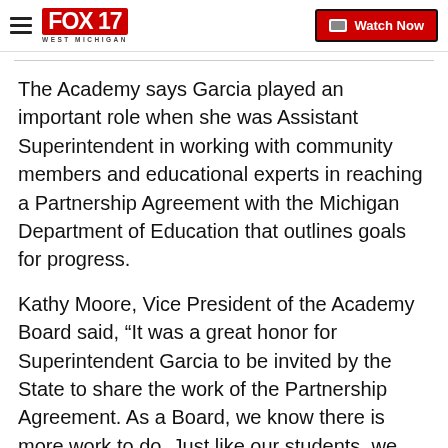FOX 17 WEST MICHIGAN | Watch Now
The Academy says Garcia played an important role when she was Assistant Superintendent in working with community members and educational experts in reaching a Partnership Agreement with the Michigan Department of Education that outlines goals for progress.
Kathy Moore, Vice President of the Academy Board said, “It was a great honor for Superintendent Garcia to be invited by the State to share the work of the Partnership Agreement. As a Board, we know there is more work to do. Just like our students, we are a work in progress. We believe in the transformative power of